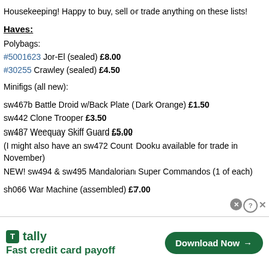Housekeeping! Happy to buy, sell or trade anything on these lists!
Haves:
Polybags:
#5001623 Jor-El (sealed) £8.00
#30255 Crawley (sealed) £4.50
Minifigs (all new):
sw467b Battle Droid w/Back Plate (Dark Orange) £1.50
sw442 Clone Trooper £3.50
sw487 Weequay Skiff Guard £5.00
(I might also have an sw472 Count Dooku available for trade in November)
NEW! sw494 & sw495 Mandalorian Super Commandos (1 of each)
sh066 War Machine (assembled) £7.00
[Figure (screenshot): Tally advertisement banner: Fast credit card payoff, with Download Now button]